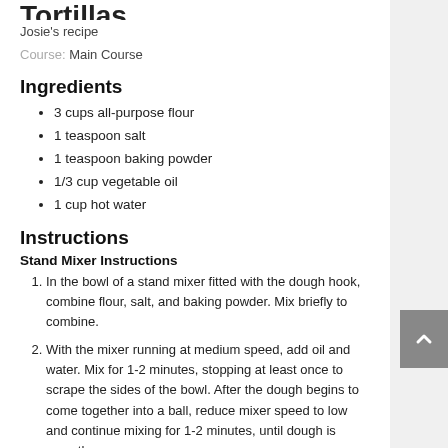Tortillas
Josie's recipe
Course: Main Course
Ingredients
3 cups all-purpose flour
1 teaspoon salt
1 teaspoon baking powder
1/3 cup vegetable oil
1 cup hot water
Instructions
Stand Mixer Instructions
In the bowl of a stand mixer fitted with the dough hook, combine flour, salt, and baking powder. Mix briefly to combine.
With the mixer running at medium speed, add oil and water. Mix for 1-2 minutes, stopping at least once to scrape the sides of the bowl. After the dough begins to come together into a ball, reduce mixer speed to low and continue mixing for 1-2 minutes, until dough is smooth.
Mixer Hand Instructions